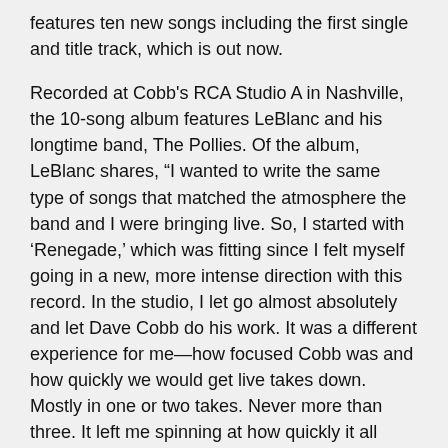features ten new songs including the first single and title track, which is out now.
Recorded at Cobb's RCA Studio A in Nashville, the 10-song album features LeBlanc and his longtime band, The Pollies. Of the album, LeBlanc shares, “I wanted to write the same type of songs that matched the atmosphere the band and I were bringing live. So, I started with ‘Renegade,’ which was fitting since I felt myself going in a new, more intense direction with this record. In the studio, I let go almost absolutely and let Dave Cobb do his work. It was a different experience for me—how focused Cobb was and how quickly we would get live takes down. Mostly in one or two takes. Never more than three. It left me spinning at how quickly it all came together. With beautiful gear and a keen ear, it was fun to work with my best friends alongside Cobb. Over the course of ten days ‘Renegade’ was complete and ready for mastering. And I couldn’t be more excited to share it with you.”